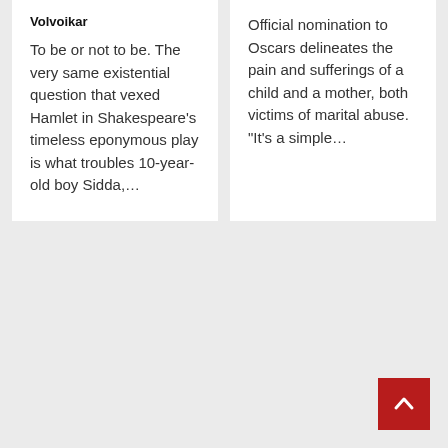Volvoikar
To be or not to be. The very same existential question that vexed Hamlet in Shakespeare’s timeless eponymous play is what troubles 10-year-old boy Sidda,…
Official nomination to Oscars delineates the pain and sufferings of a child and a mother, both victims of marital abuse. “It’s a simple…
[Figure (other): Red back-to-top button with white upward chevron arrow in bottom right corner]